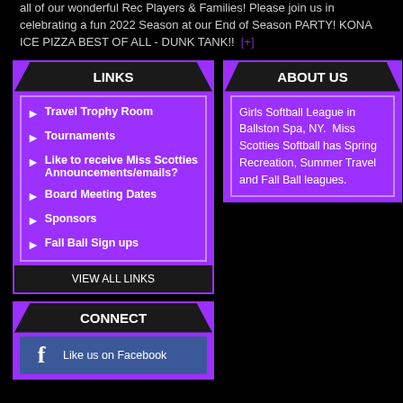all of our wonderful Rec Players & Families! Please join us in celebrating a fun 2022 Season at our End of Season PARTY! KONA ICE PIZZA BEST OF ALL - DUNK TANK!!  [+]
LINKS
Travel Trophy Room
Tournaments
Like to receive Miss Scotties Announcements/emails?
Board Meeting Dates
Sponsors
Fall Ball Sign ups
VIEW ALL LINKS
ABOUT US
Girls Softball League in Ballston Spa, NY.  Miss Scotties Softball has Spring Recreation, Summer Travel and Fall Ball leagues.
CONNECT
Like us on Facebook